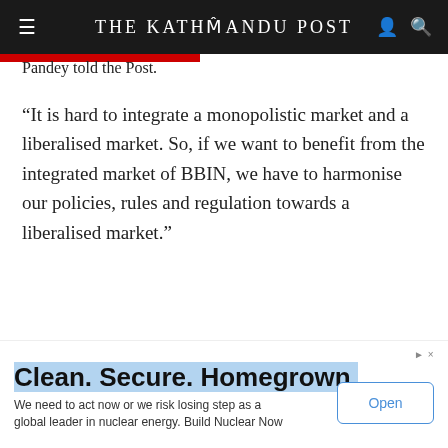THE KATHMANDU POST
Pandey told the Post.
“It is hard to integrate a monopolistic market and a liberalised market. So, if we want to benefit from the integrated market of BBIN, we have to harmonise our policies, rules and regulation towards a liberalised market.”
Prithvi Man Shrestha
Prithvi Man Shrestha is a political reporter for The Kathmandu Post, covering the governance-related issues including corruption and irregularities in
Clean. Secure. Homegrown. We need to act now or we risk losing step as a global leader in nuclear energy. Build Nuclear Now